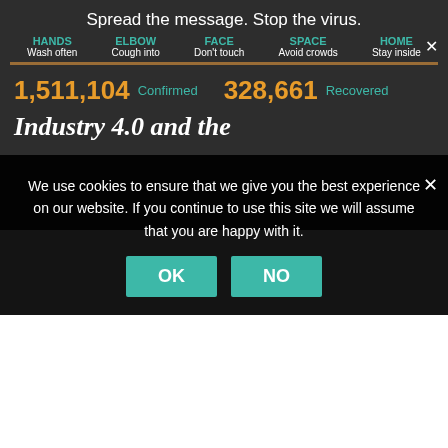Spread the message. Stop the virus.
HANDS Wash often  ELBOW Cough into  FACE Don't touch  SPACE Avoid crowds  HOME Stay inside
1,511,104 Confirmed  328,661 Recovered
Industry 4.0 and the
We use cookies to ensure that we give you the best experience on our website. If you continue to use this site we will assume that you are happy with it.
OK  NO
By Christoph Tapenfuss   July 10, 2019
0 Comments
That sensor data problem
A few weeks ago, I met with a number of IT consultants who had been hired to provide data science knowledge